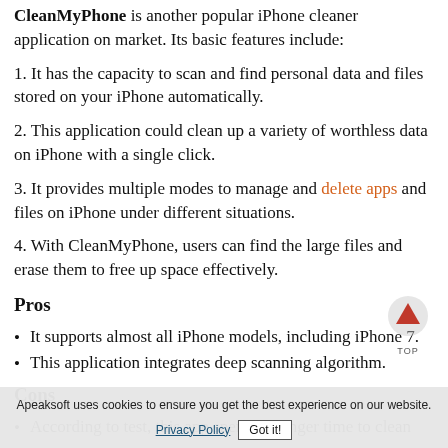CleanMyPhone is another popular iPhone cleaner application on market. Its basic features include:
1. It has the capacity to scan and find personal data and files stored on your iPhone automatically.
2. This application could clean up a variety of worthless data on iPhone with a single click.
3. It provides multiple modes to manage and delete apps and files on iPhone under different situations.
4. With CleanMyPhone, users can find the large files and erase them to free up space effectively.
Pros
It supports almost all iPhone models, including iPhone 7.
This application integrates deep scanning algorithm.
Cons
According to test, this app spends a longer time to clean
Apeaksoft uses cookies to ensure you get the best experience on our website. Privacy Policy  Got it!